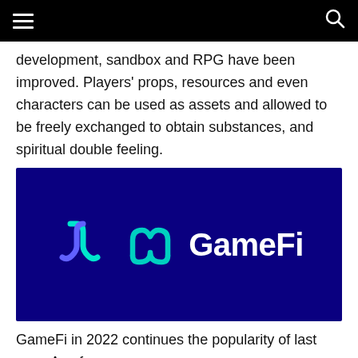[Navigation bar with hamburger menu and search icon]
development, sandbox and RPG have been improved. Players' props, resources and even characters can be used as assets and allowed to be freely exchanged to obtain substances, and spiritual double feeling.
[Figure (logo): GameFi logo on dark navy/blue background. Logo consists of a teal/cyan bracket-like icon with a checkmark/wave shape and the word 'GameFi' in white bold text.]
GameFi in 2022 continues the popularity of last year. As of